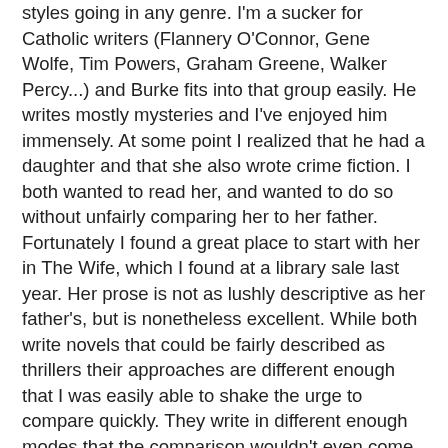styles going in any genre. I'm a sucker for Catholic writers (Flannery O'Connor, Gene Wolfe, Tim Powers, Graham Greene, Walker Percy...) and Burke fits into that group easily. He writes mostly mysteries and I've enjoyed him immensely. At some point I realized that he had a daughter and that she also wrote crime fiction. I both wanted to read her, and wanted to do so without unfairly comparing her to her father. Fortunately I found a great place to start with her in The Wife, which I found at a library sale last year. Her prose is not as lushly descriptive as her father's, but is nonetheless excellent. While both write novels that could be fairly described as thrillers their approaches are different enough that I was easily able to shake the urge to compare quickly. They write in different enough modes that the comparison wouldn't even come up if they weren't related. And she is, as one would hope, much better at writing believable women characters.
This book was published at the exact right time; it came out in 2018. While it was written before the allegations against Weinstein et al started to come out in torrents, it could not have been more relevant. A reductive way to describe the